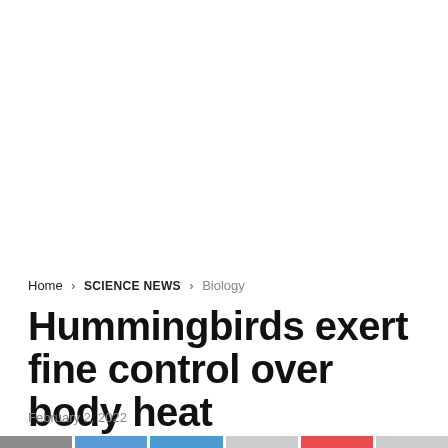Home > SCIENCE NEWS > Biology
Hummingbirds exert fine control over body heat
February 2, 2022